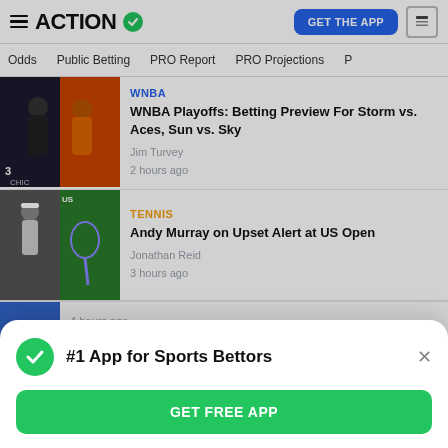ACTION — GET THE APP
Odds | Public Betting | PRO Report | PRO Projections
[Figure (photo): WNBA basketball players in action]
WNBA
WNBA Playoffs: Betting Preview For Storm vs. Aces, Sun vs. Sky
Jim Turvey
2 hours ago
[Figure (photo): Tennis players at US Open]
TENNIS
Andy Murray on Upset Alert at US Open
Jonathan Reid
3 hours ago
#1 App for Sports Bettors
GET FREE APP
4 hours ago